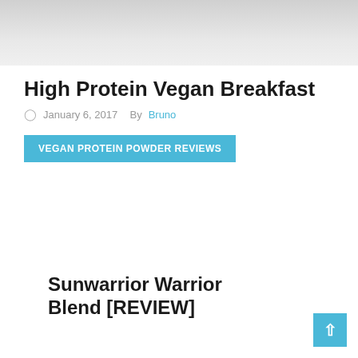[Figure (photo): Partial image at the top of the page, showing a light gray/muted photograph placeholder]
High Protein Vegan Breakfast
January 6, 2017   By Bruno
VEGAN PROTEIN POWDER REVIEWS
Sunwarrior Warrior Blend [REVIEW]